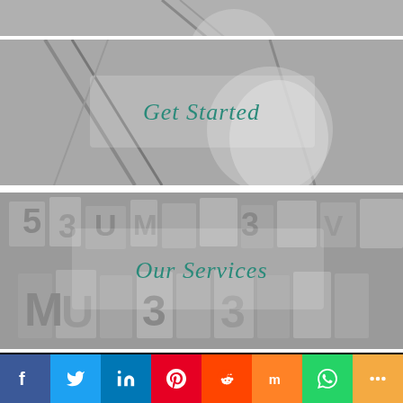[Figure (photo): Partial top image, grayscale photo partially cropped]
[Figure (photo): Grayscale photo banner with teal italic text 'Get Started']
[Figure (photo): Grayscale photo banner with teal italic text 'Our Services' showing letterpress typography]
[Figure (logo): Martial Arts Marketing Network logo with red bar-chart icon and white text on black background]
888-893-8952
Terms of Use
[Figure (infographic): Social media share bar: Facebook, Twitter, LinkedIn, Pinterest, Reddit, Mix, WhatsApp, More]